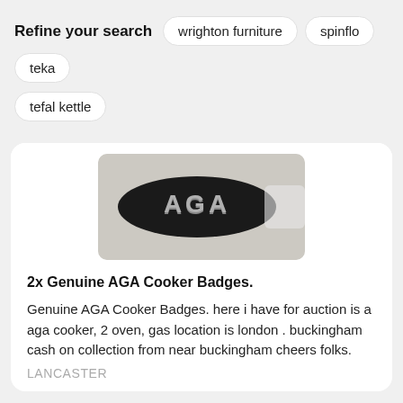Refine your search  wrighton furniture  spinflo  teka  tefal kettle
[Figure (photo): Close-up photo of a black AGA brand badge/emblem with metallic 'AGA' lettering, against a light grey background]
2x Genuine AGA Cooker Badges.
Genuine AGA Cooker Badges. here i have for auction is a aga cooker, 2 oven, gas location is london . buckingham cash on collection from near buckingham cheers folks.
LANCASTER